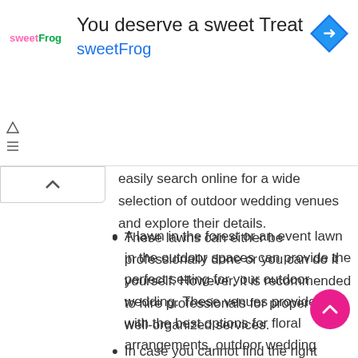[Figure (advertisement): sweetFrog frozen yogurt advertisement banner with logo, title 'You deserve a sweet Treat', subtitle 'sweetFrog', and a blue navigation arrow icon]
easily search online for a wide selection of outdoor wedding venues and explore their details.
A lawn in the forest or an event lawn in the outdoor spaces can provide the perfect setting for your outdoor wedding. These venues provide you with the best options for floral arrangements, outdoor wedding photography and catering, lighting, and other preparations required for an outdoor event.
These lawns can either be professionally done or you can do it yourself. However, it is recommended to hire professionals for proper and well-organized services.
In case you cannot find the right venue according to your requirements or your budget, you can rent the